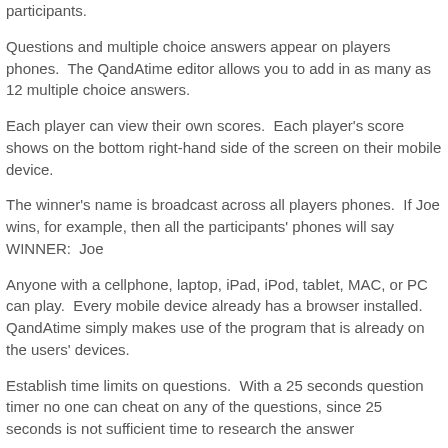participants.
Questions and multiple choice answers appear on players phones.  The QandAtime editor allows you to add in as many as 12 multiple choice answers.
Each player can view their own scores.  Each player's score shows on the bottom right-hand side of the screen on their mobile device.
The winner's name is broadcast across all players phones.  If Joe wins, for example, then all the participants' phones will say WINNER:  Joe
Anyone with a cellphone, laptop, iPad, iPod, tablet, MAC, or PC can play.  Every mobile device already has a browser installed.  QandAtime simply makes use of the program that is already on the users' devices.
Establish time limits on questions.  With a 25 seconds question timer no one can cheat on any of the questions, since 25 seconds is not sufficient time to research the answer